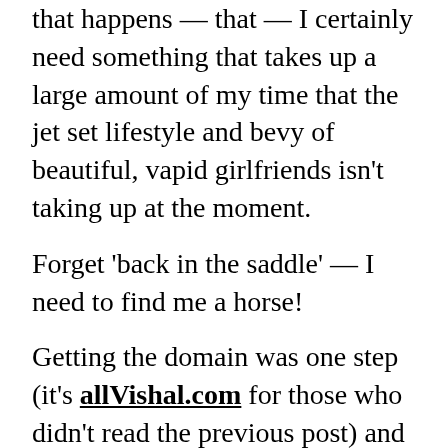that happens — that — I certainly need something that takes up a large amount of my time that the jet set lifestyle and bevy of beautiful, vapid girlfriends isn't taking up at the moment.
Forget 'back in the saddle' — I need to find me a horse!
Getting the domain was one step (it's allVishal.com for those who didn't read the previous post) and new content should be coming to the site. It's mostly silly stuff, but I hope that it's entertaining and you come back for more. I haven't drawn in ages, but there are fresh sheets